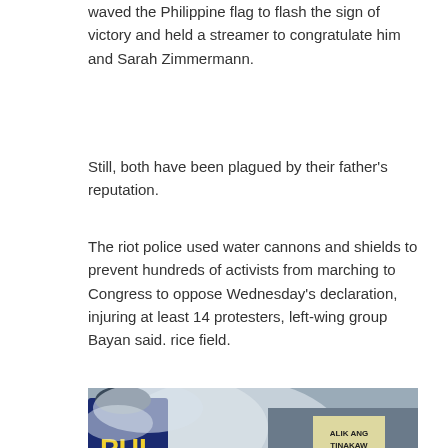waved the Philippine flag to flash the sign of victory and held a streamer to congratulate him and Sarah Zimmermann.
Still, both have been plagued by their father's reputation.
The riot police used water cannons and shields to prevent hundreds of activists from marching to Congress to oppose Wednesday's declaration, injuring at least 14 protesters, left-wing group Bayan said. rice field.
[Figure (photo): Photo of riot police with shields confronting protesters. A police officer holds a blue shield with 'PUL' text visible. There is smoke/water cannon mist in the background. Protesters are visible including one wearing a grey baseball cap. A sign reading 'ALIK ANG TINAKAW' is visible in the crowd.]